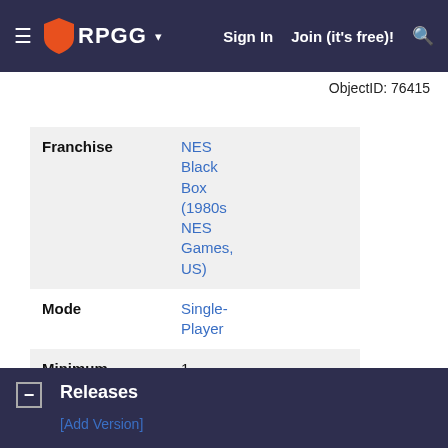RPGG — Sign In  Join (it's free)!
ObjectID: 76415
| Field | Value |
| --- | --- |
| Franchise | NES Black Box (1980s NES Games, US) |
| Mode | Single-Player |
| Minimum Players | 1 |
| Maximum Players | 1 |
| Release Date | 1984-00-00 |
| Developer | Intelligent Systems Nintendo Co., Ltd. |
| Publisher | Nintendo Co., Ltd. |
Releases